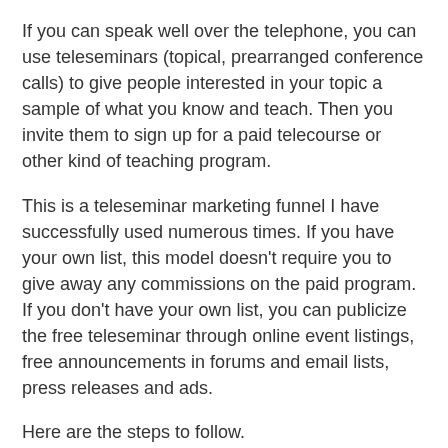If you can speak well over the telephone, you can use teleseminars (topical, prearranged conference calls) to give people interested in your topic a sample of what you know and teach. Then you invite them to sign up for a paid telecourse or other kind of teaching program.
This is a teleseminar marketing funnel I have successfully used numerous times. If you have your own list, this model doesn't require you to give away any commissions on the paid program. If you don't have your own list, you can publicize the free teleseminar through online event listings, free announcements in forums and email lists, press releases and ads.
Here are the steps to follow.
Step 1: Announce a free one-hour teleclass in which you'll answer questions about your topic. On the signup